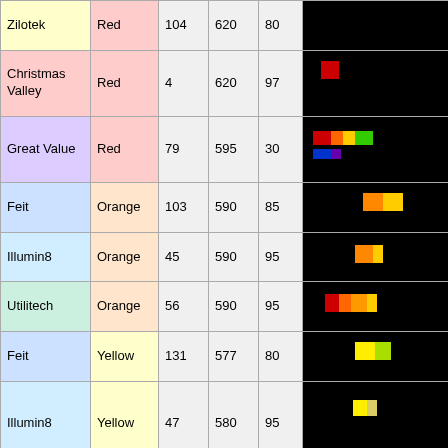| Brand | Color | Col3 | Col4 | Col5 | Spectrum |
| --- | --- | --- | --- | --- | --- |
| Zilotek | Red | 104 | 620 | 80 | [spectrum image] |
| Christmas Valley | Red | 4 | 620 | 97 | [spectrum image] |
| Great Value | Red | 79 | 595 | 30 | [spectrum image] |
| Feit | Orange | 103 | 590 | 85 | [spectrum image] |
| Illumin8 | Orange | 45 | 590 | 95 | [spectrum image] |
| Utilitech | Orange | 56 | 590 | 95 | [spectrum image] |
| Feit | Yellow | 131 | 577 | 80 | [spectrum image] |
| Illumin8 | Yellow | 47 | 580 | 95 | [spectrum image] |
| Utilitech | Yellow | 63 | 575 | 90 | [spectrum image] |
| Christmas Valley | Yellow | 4 | 577 | 95 | [spectrum image] |